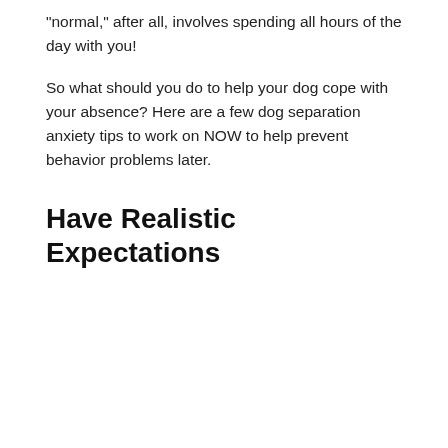“normal,” after all, involves spending all hours of the day with you!
So what should you do to help your dog cope with your absence? Here are a few dog separation anxiety tips to work on NOW to help prevent behavior problems later.
Have Realistic Expectations